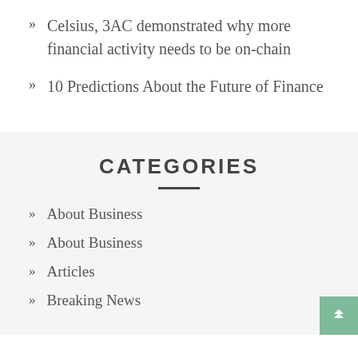Celsius, 3AC demonstrated why more financial activity needs to be on-chain
10 Predictions About the Future of Finance
CATEGORIES
About Business
About Business
Articles
Breaking News